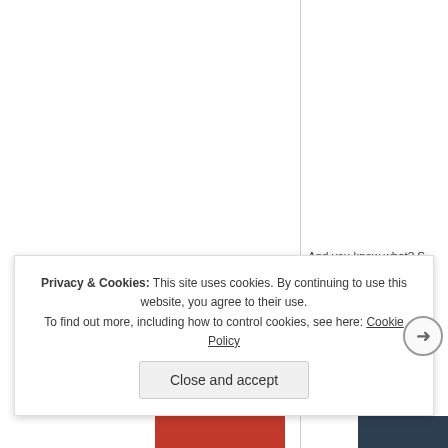And you know what? S
In fact, it hardly disapp
(negligible) disappointm
For my nerves' sake, I
n
Privacy & Cookies: This site uses cookies. By continuing to use this website, you agree to their use.
To find out more, including how to control cookies, see here: Cookie Policy
Close and accept